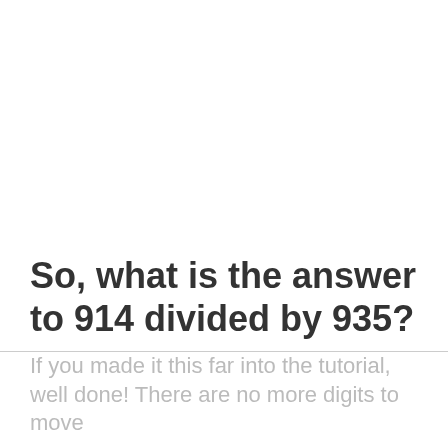So, what is the answer to 914 divided by 935?
If you made it this far into the tutorial, well done! There are no more digits to move